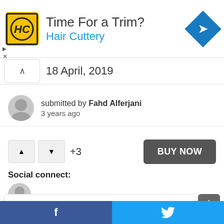[Figure (advertisement): Hair Cuttery ad banner with yellow logo, 'Time For a Trim?' heading, blue subtitle, and blue diamond navigation icon]
18 April, 2019
submitted by Fahd Alferjani
3 years ago
+3
BUY NOW
Social connect:
Write a comment...*
[Figure (screenshot): Facebook and Twitter social share footer buttons]